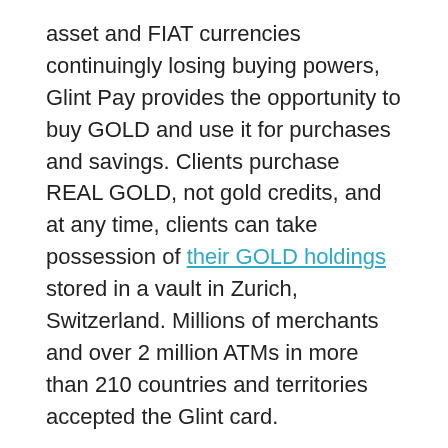asset and FIAT currencies continuingly losing buying powers, Glint Pay provides the opportunity to buy GOLD and use it for purchases and savings. Clients purchase REAL GOLD, not gold credits, and at any time, clients can take possession of their GOLD holdings stored in a vault in Zurich, Switzerland. Millions of merchants and over 2 million ATMs in more than 210 countries and territories accepted the Glint card.
New to The Street T.V. airs tonight, Monday, December 20, 2021, Anchor Jane King's in-studio NASDAQ interview with Mr. Peter Woodard, Head of Institutional Growth, Alpaca Finance (CRYPTO: $ALPACA) ($ALPACA). Peter provides information about Alpaca as a lending platform on Binance Smart Chain, where lenders and browsers together help bring the power of DeFi. Alpaca's crypto lending DeFi lending platform gets excellent financial returns for passive and